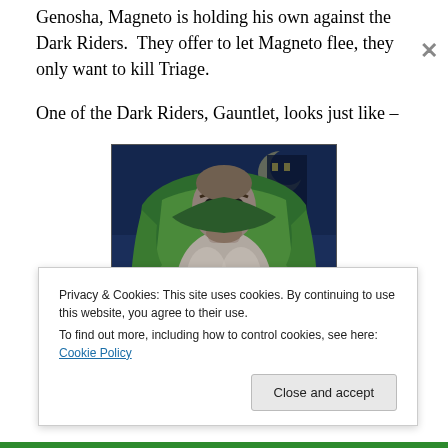Genosha, Magneto is holding his own against the Dark Riders.  They offer to let Magneto flee, they only want to kill Triage.
One of the Dark Riders, Gauntlet, looks just like –
[Figure (illustration): Comic book illustration of Gauntlet, a large muscular villain in a green cape with a gold belt buckle, set against a dark blue nighttime background with a moon visible.]
Privacy & Cookies: This site uses cookies. By continuing to use this website, you agree to their use.
To find out more, including how to control cookies, see here: Cookie Policy